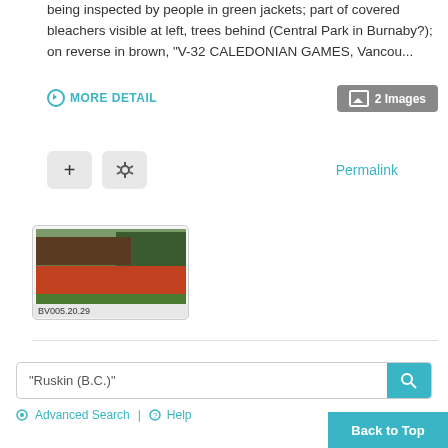being inspected by people in green jackets; part of covered bleachers visible at left, trees behind (Central Park in Burnaby?); on reverse in brown, "V-32 CALEDONIAN GAMES, Vancou...
MORE DETAIL
2 Images
Permalink
[Figure (photo): Thumbnail photo of Caledonian Games showing a crowd in red uniforms on a green field, with a large covered structure/bleachers at left and trees in background. Caption: BV005.20.29]
"Ruskin (B.C.)"
Advanced Search | Help
Back to Top